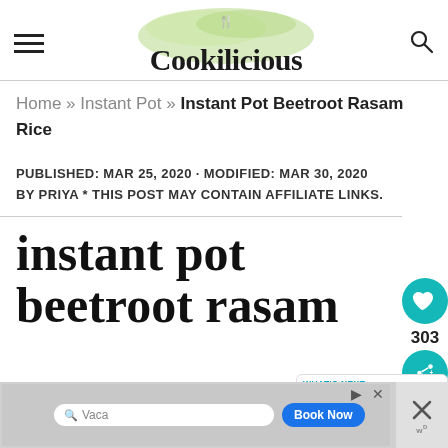Cookilicious
Home » Instant Pot » Instant Pot Beetroot Rasam Rice
PUBLISHED: MAR 25, 2020 · MODIFIED: MAR 30, 2020 BY PRIYA * THIS POST MAY CONTAIN AFFILIATE LINKS.
instant pot beetroot rasam
[Figure (other): WHAT'S NEXT → Jeera Rice In The Instant...]
[Figure (other): Advertisement banner with search bar and Book Now button]